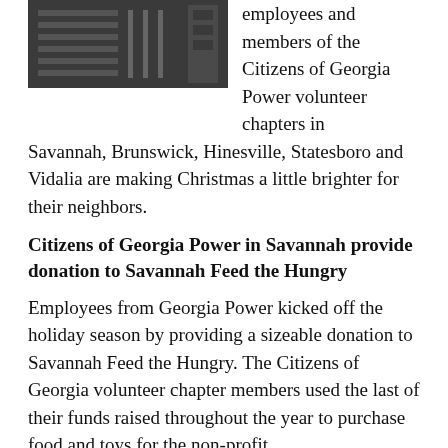[Figure (photo): A dark photo showing shelving or warehouse interior, likely with boxes or supplies.]
employees and members of the Citizens of Georgia Power volunteer chapters in Savannah, Brunswick, Hinesville, Statesboro and Vidalia are making Christmas a little brighter for their neighbors.
Citizens of Georgia Power in Savannah provide donation to Savannah Feed the Hungry
Employees from Georgia Power kicked off the holiday season by providing a sizeable donation to Savannah Feed the Hungry. The Citizens of Georgia volunteer chapter members used the last of their funds raised throughout the year to purchase food and toys for the non-profit.
After a trip to a local Sam's Club, employees were able to purchase 16 turkeys, a variety of canned good, five playsets, basketballs and footballs for families in need this holiday season. Several volunteers plan to return to Savannah Feed the Hungry to help at their Christmas dinner on December 23rd.
Citizens of Georgia Power in Brunswick support families